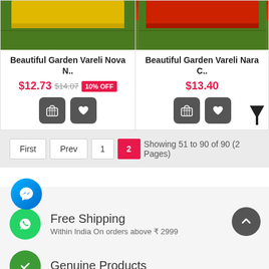[Figure (screenshot): Product card left: Beautiful Garden Vareli Nova N.. with yellow fabric on grass background, price $12.73, original $14.07, 10% OFF badge, cart and wishlist buttons]
[Figure (screenshot): Product card right: Beautiful Garden Vareli Nara C.. with red fabric on grass background, price $13.40, cart and wishlist buttons]
Showing 51 to 90 of 90 (2 Pages)
Free Shipping
Within India On orders above ₹ 2999
Genuine Products